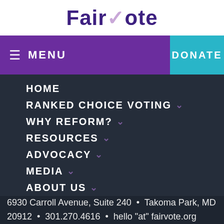[Figure (logo): FairVote logo with stylized V checkmark in lavender]
MENU  DONATE
HOME
RANKED CHOICE VOTING
WHY REFORM?
RESOURCES
ADVOCACY
MEDIA
ABOUT US
6930 Carroll Avenue, Suite 240  •  Takoma Park, MD  20912  •  301.270.4616  •  hello "at" fairvote.org